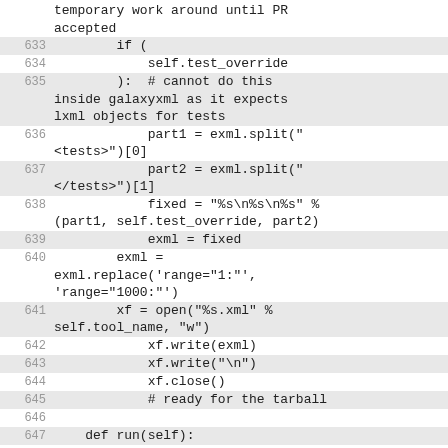temporary work around until PR accepted
633        if (
634            self.test_override
635        ):  # cannot do this inside galaxyxml as it expects lxml objects for tests
636            part1 = exml.split("<tests>")[0]
637            part2 = exml.split("</tests>")[1]
638            fixed = "%s\n%s\n%s" % (part1, self.test_override, part2)
639            exml = fixed
640        exml = exml.replace('range="1:"', 'range="1000:"')
641        xf = open("%s.xml" % self.tool_name, "w")
642            xf.write(exml)
643            xf.write("\n")
644            xf.close()
645            # ready for the tarball
646
647    def run(self):
648        """
649        generate test outputs by running a command line
650        won't work if command or test override in play - planemo is